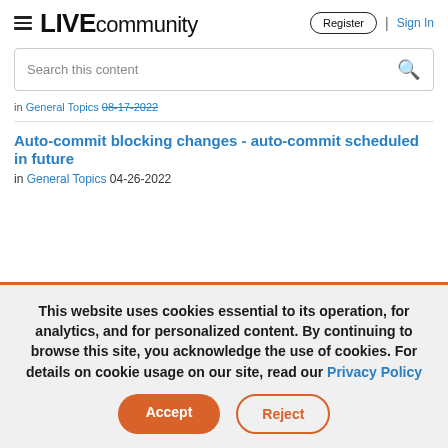LIVE community | Register | Sign In
Search this content
in General Topics 08-17-2022
Auto-commit blocking changes - auto-commit scheduled in future
in General Topics 04-26-2022
This website uses cookies essential to its operation, for analytics, and for personalized content. By continuing to browse this site, you acknowledge the use of cookies. For details on cookie usage on our site, read our Privacy Policy